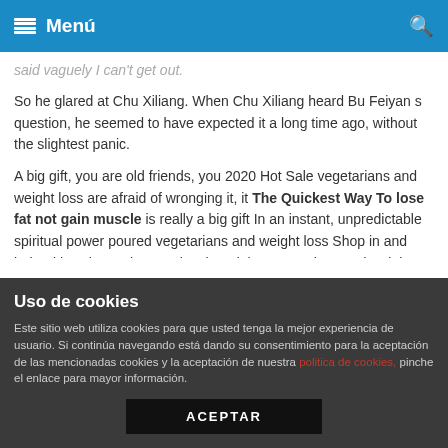Menú
said vaguely I can't get out.
So he glared at Chu Xiliang. When Chu Xiliang heard Bu Feiyan s question, he seemed to have expected it a long time ago, without the slightest panic.
A big gift, you are old friends, you 2020 Hot Sale vegetarians and weight loss are afraid of wronging it, it The Quickest Way To lose fat not gain muscle is really a big gift In an instant, unpredictable spiritual power poured vegetarians and weight loss Shop in and helped her rise to the next level, and the vegetarians and weight loss Diet Pill blue eyes lose fat not gain muscle Umeen Hiria were only afraid to benefit.
Let the two nurses take the two children away. Bu Feiyan looked at the disappearance of the two children for a while, and then
Uso de cookies
Este sitio web utiliza cookies para que usted tenga la mejor experiencia de usuario. Si continúa navegando está dando su consentimiento para la aceptación de las mencionadas cookies y la aceptación de nuestra politica de cookies, pinche el enlace para mayor información.
ACEPTAR